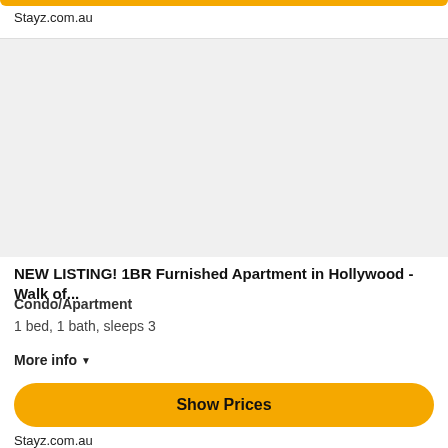Stayz.com.au
[Figure (photo): Gray placeholder image area for property listing photo]
NEW LISTING! 1BR Furnished Apartment in Hollywood - Walk of...
Condo/Apartment
1 bed, 1 bath, sleeps 3
More info ▾
Show Prices
Stayz.com.au